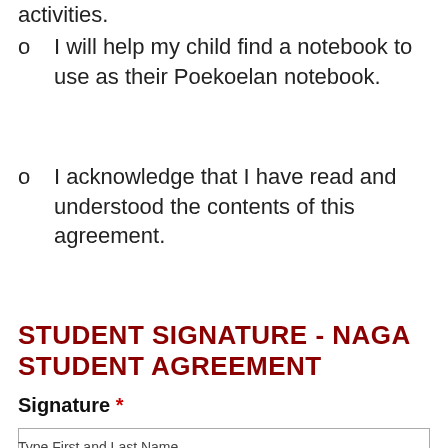o    I will help my child find a notebook to use as their Poekoelan notebook.
o    I acknowledge that I have read and understood the contents of this agreement.
STUDENT SIGNATURE - NAGA STUDENT AGREEMENT
Signature *
Type First and Last Name